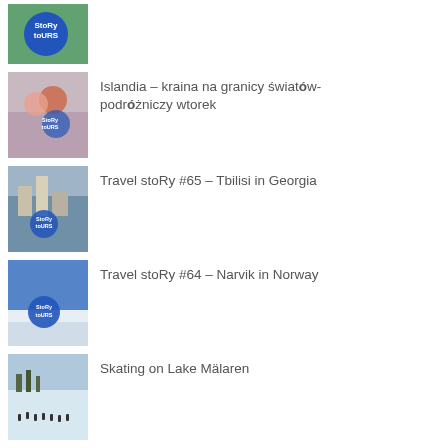[Figure (photo): Story Tours logo thumbnail - blue circular badge on greenery background]
Islandia – kraina na granicy światów- podróżniczy wtorek
Travel stoRy #65 – Tbilisi in Georgia
Travel stoRy #64 – Narvik in Norway
Skating on Lake Mälaren
Travel stoRy #63 – Björkliden in Swedish Lappland